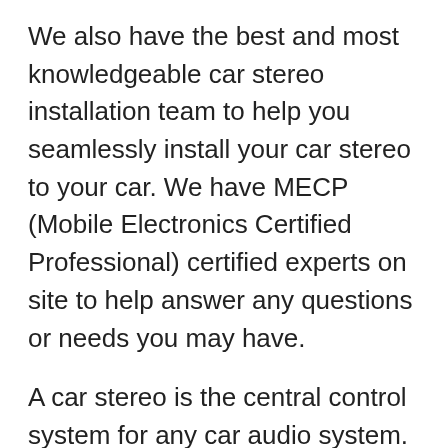We also have the best and most knowledgeable car stereo installation team to help you seamlessly install your car stereo to your car. We have MECP (Mobile Electronics Certified Professional) certified experts on site to help answer any questions or needs you may have.
A car stereo is the central control system for any car audio system. A car stereo can also be known as a head unit, receiver or radio. With rapidly-evolving technology and innovation, today a car stereo can possess a multitude of functions to make commuting much more enjoyable and efficient.
Upgrading your car stereo will enable you to access a variety of music and other media